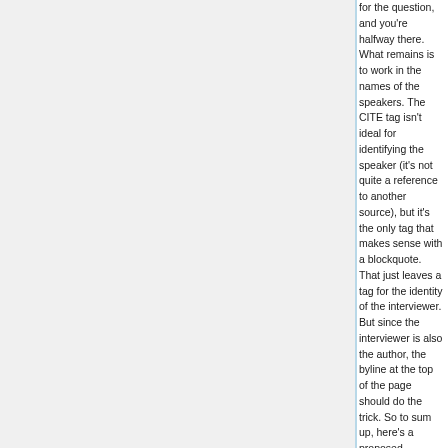for the question, and you're halfway there. What remains is to work in the names of the speakers. The CITE tag isn't ideal for identifying the speaker (it's not quite a reference to another source), but it's the only tag that makes sense with a blockquote. That just leaves a tag for the identity of the interviewer. But since the interviewer is also the author, the byline at the top of the page should do the trick. So to sum up, here's a proposed solution:
<p><em>What is your quest?</em></p>
<blockquote><cite>Sir Launcelot:</cite> To seek the Holy Grail.</blockquote>
<p><em>What is your favorite color?</em></p>
<blockquote><cite><abbr title="Sir